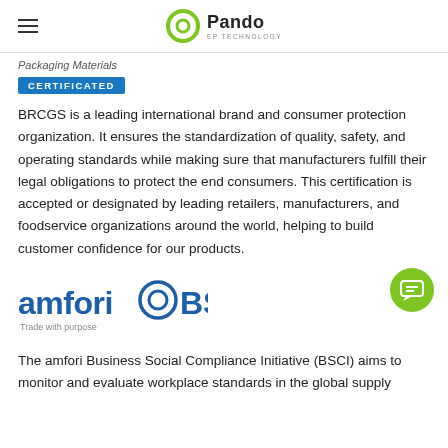Pando EP TECHNOLOGY
Packaging Materials
CERTIFICATED
BRCGS is a leading international brand and consumer protection organization. It ensures the standardization of quality, safety, and operating standards while making sure that manufacturers fulfill their legal obligations to protect the end consumers. This certification is accepted or designated by leading retailers, manufacturers, and foodservice organizations around the world, helping to build customer confidence for our products.
[Figure (logo): amfori BSCI logo with text 'Trade with purpose']
The amfori Business Social Compliance Initiative (BSCI) aims to monitor and evaluate workplace standards in the global supply